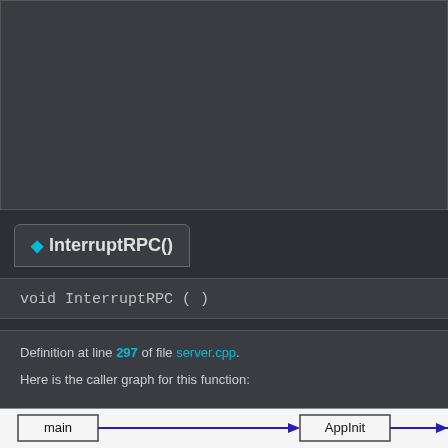[Figure (screenshot): Dark gray top panel area, empty documentation content area]
◆ InterruptRPC()
void InterruptRPC ( )
Definition at line 297 of file server.cpp.
Here is the caller graph for this function:
[Figure (flowchart): Caller graph showing main node connected by arrow to AppInit node]